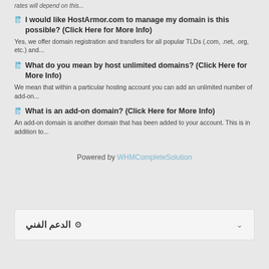rates will depend on this...
I would like HostArmor.com to manage my domain is this possible? (Click Here for More Info)
Yes, we offer domain registration and transfers for all popular TLDs (.com, .net, .org, etc.) and...
What do you mean by host unlimited domains? (Click Here for More Info)
We mean that within a particular hosting account you can add an unlimited number of add-on...
What is an add-on domain? (Click Here for More Info)
An add-on domain is another domain that has been added to your account. This is in addition to...
Powered by WHMCompleteSolution
الدعم الفني